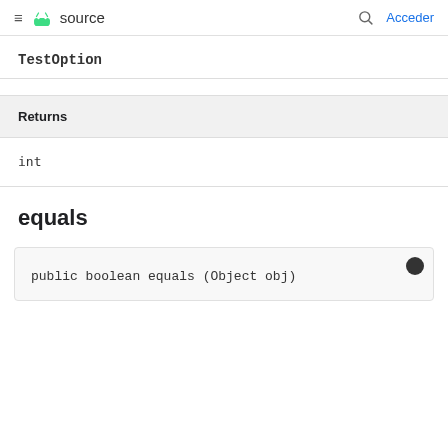≡  source   🔍  Acceder
TestOption
| Returns |
| --- |
| int |
equals
public boolean equals (Object obj)